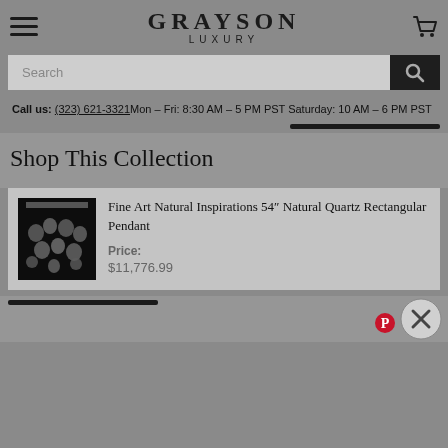GRAYSON LUXURY
Search
Call us: (323) 621-3321 Mon - Fri: 8:30 AM - 5 PM PST Saturday: 10 AM - 6 PM PST
Shop This Collection
[Figure (photo): Product image of Fine Art Natural Inspirations 54" Natural Quartz Rectangular Pendant - dark rectangular pendant with hanging crystal/quartz elements]
Fine Art Natural Inspirations 54″ Natural Quartz Rectangular Pendant
Price:
$11,776.99
[Figure (screenshot): Bottom of page showing partial product image and close/Pinterest buttons]